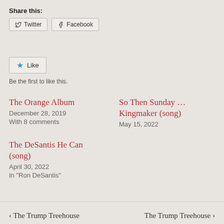Share this:
Twitter Facebook
Like
Be the first to like this.
The Orange Album
December 28, 2019
With 8 comments
So Then Sunday … Kingmaker (song)
May 15, 2022
The DeSantis He Can (song)
April 30, 2022
In "Ron DeSantis"
‹ The Trump Treehouse   The Trump Treehouse ›